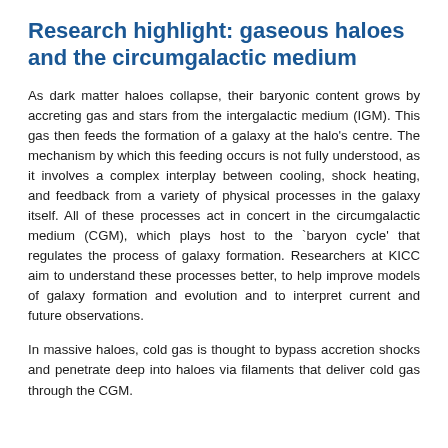Research highlight: gaseous haloes and the circumgalactic medium
As dark matter haloes collapse, their baryonic content grows by accreting gas and stars from the intergalactic medium (IGM). This gas then feeds the formation of a galaxy at the halo's centre. The mechanism by which this feeding occurs is not fully understood, as it involves a complex interplay between cooling, shock heating, and feedback from a variety of physical processes in the galaxy itself. All of these processes act in concert in the circumgalactic medium (CGM), which plays host to the `baryon cycle' that regulates the process of galaxy formation. Researchers at KICC aim to understand these processes better, to help improve models of galaxy formation and evolution and to interpret current and future observations.
In massive haloes, cold gas is thought to bypass accretion shocks and penetrate deep into haloes via filaments that deliver cold gas through the CGM.